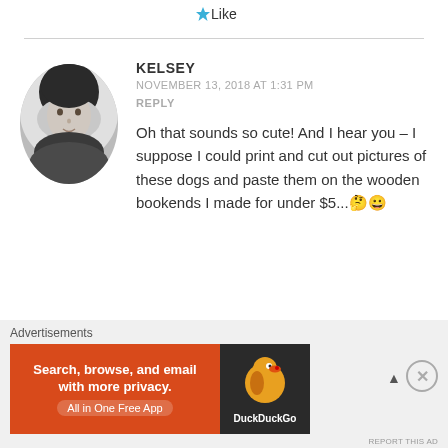Like
KELSEY
NOVEMBER 13, 2018 AT 1:31 PM
REPLY
Oh that sounds so cute! And I hear you – I suppose I could print and cut out pictures of these dogs and paste them on the wooden bookends I made for under $5...🤔😀
Like
Advertisements
[Figure (screenshot): DuckDuckGo advertisement banner: orange background with text 'Search, browse, and email with more privacy. All in One Free App' and DuckDuckGo logo on dark right panel]